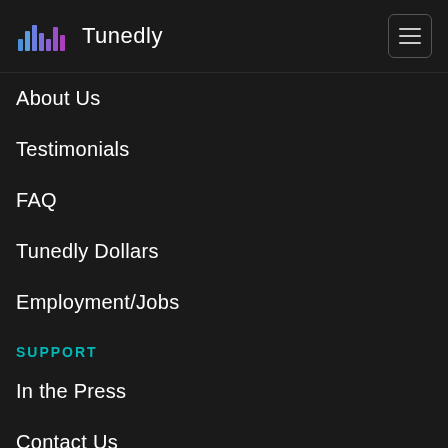Tunedly
About Us
Testimonials
FAQ
Tunedly Dollars
Employment/Jobs
SUPPORT
In the Press
Contact Us